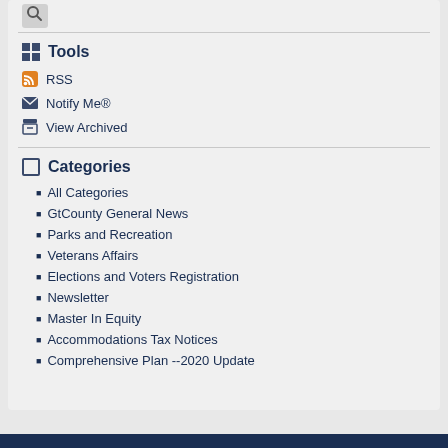Tools
RSS
Notify Me®
View Archived
Categories
All Categories
GtCounty General News
Parks and Recreation
Veterans Affairs
Elections and Voters Registration
Newsletter
Master In Equity
Accommodations Tax Notices
Comprehensive Plan --2020 Update